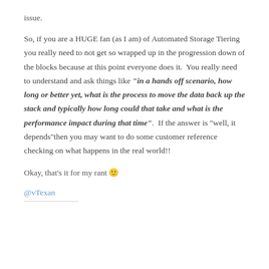issue.
So, if you are a HUGE fan (as I am) of Automated Storage Tiering you really need to not get so wrapped up in the progression down of the blocks because at this point everyone does it.  You really need to understand and ask things like "in a hands off scenario, how long or better yet, what is the process to move the data back up the stack and typically how long could that take and what is the performance impact during that time".  If the answer is “well, it depends”then you may want to do some customer reference checking on what happens in the real world!!
Okay, that's it for my rant 🙂
@vTexan